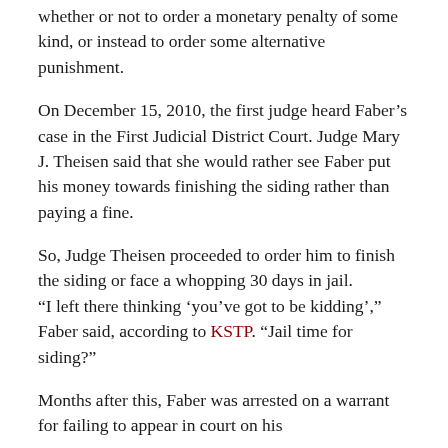whether or not to order a monetary penalty of some kind, or instead to order some alternative punishment.
On December 15, 2010, the first judge heard Faber’s case in the First Judicial District Court. Judge Mary J. Theisen said that she would rather see Faber put his money towards finishing the siding rather than paying a fine.
So, Judge Theisen proceeded to order him to finish the siding or face a whopping 30 days in jail. “I left there thinking ‘you’ve got to be kidding’,” Faber said, according to KSTP. “Jail time for siding?”
Months after this, Faber was arrested on a warrant for failing to appear in court on his